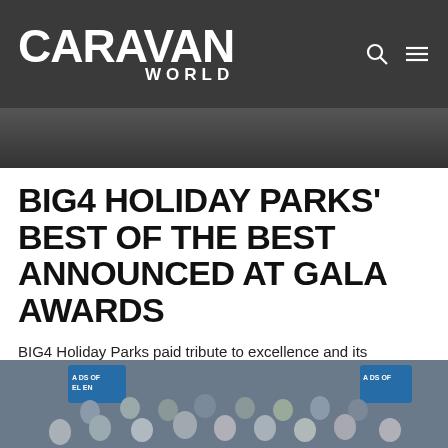CARAVAN WORLD
[Figure (photo): Partial photo visible at top of page below nav bar]
BIG4 HOLIDAY PARKS' BEST OF THE BEST ANNOUNCED AT GALA AWARDS
BIG4 Holiday Parks paid tribute to excellence and its champions at the BIG4 Annual Awards held in Canberra's Parliament House in late October.
READ MORE
[Figure (photo): Group photo of award winners at the BIG4 Annual Awards, holding Awards of Excellence banners]